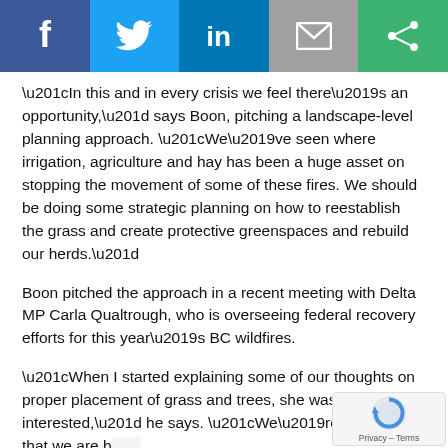[Figure (infographic): Social media sharing bar with Facebook, Twitter, LinkedIn, Email, and a green share button icon]
“In this and in every crisis we feel there’s an opportunity,” says Boon, pitching a landscape-level planning approach. “We’ve seen where irrigation, agriculture and hay has been a huge asset on stopping the movement of some of these fires. We should be doing some strategic planning on how to reestablish the grass and create protective greenspaces and rebuild our herds.”
Boon pitched the approach in a recent meeting with Delta MP Carla Qualtrough, who is overseeing federal recovery efforts for this year’s BC wildfires.
“When I started explaining some of our thoughts on proper placement of grass and trees, she was extremely interested,” he says. “We’re enthusiastic that we are being listened to. This is something that we start working on now.